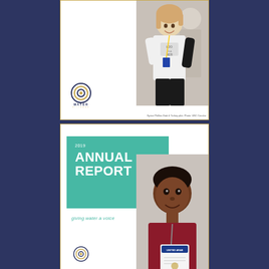[Figure (photo): Cover page of a report featuring a smiling woman in a white H2O t-shirt, with Water Alliance logo bottom left]
Syrian Phillins Diab & Turkey pilot. Photo: UNC Circular
2019 ANNUAL REPORT
giving water a voice
[Figure (photo): Annual report cover with teal banner reading 2019 ANNUAL REPORT, a young girl holding a United Arab Emirates document, and Water Alliance logo]